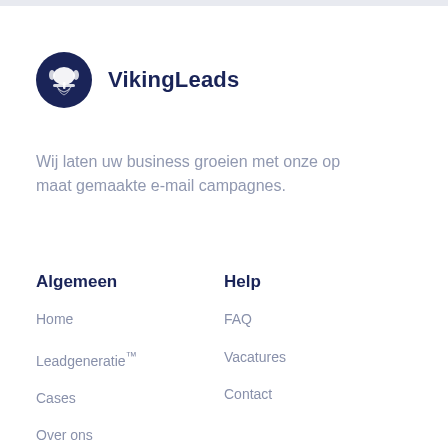[Figure (logo): VikingLeads logo: dark navy circle with white viking helmet icon]
VikingLeads
Wij laten uw business groeien met onze op maat gemaakte e-mail campagnes.
Algemeen
Help
Home
FAQ
Leadgeneratie™
Vacatures
Cases
Contact
Over ons